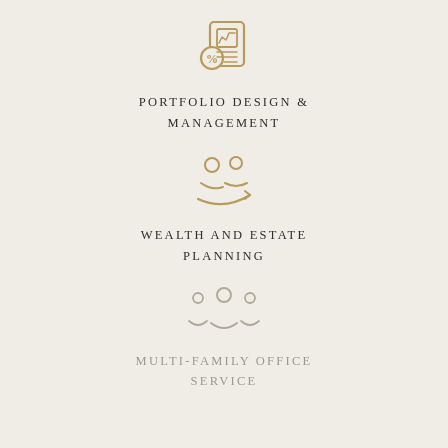[Figure (illustration): Gold/brown icon of a portfolio chart document with a percent symbol and a line graph]
PORTFOLIO DESIGN & MANAGEMENT
[Figure (illustration): Gold/brown icon of two people silhouettes representing wealth and estate planning]
WEALTH AND ESTATE PLANNING
[Figure (illustration): Light gray/muted icon of a group of three people representing multi-family office service]
MULTI-FAMILY OFFICE SERVICE